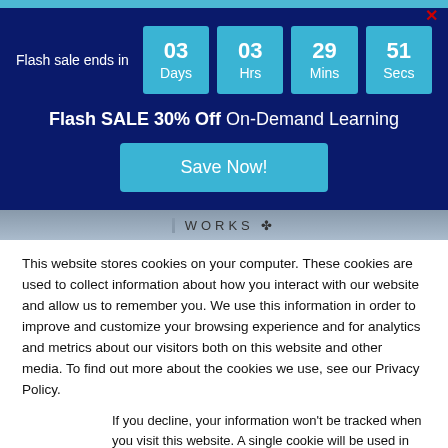Flash sale ends in
03 Days | 03 Hrs | 29 Mins | 51 Secs
Flash SALE 30% Off On-Demand Learning
Save Now!
WORKS
This website stores cookies on your computer. These cookies are used to collect information about how you interact with our website and allow us to remember you. We use this information in order to improve and customize your browsing experience and for analytics and metrics about our visitors both on this website and other media. To find out more about the cookies we use, see our Privacy Policy.
If you decline, your information won’t be tracked when you visit this website. A single cookie will be used in your browser to remember your preference not to be tracked.
Accept
Decline